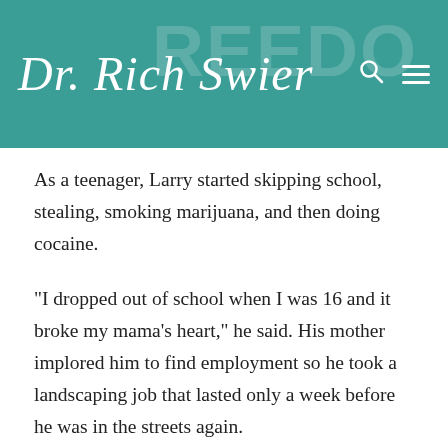Dr. Rich Swier
As a teenager, Larry started skipping school, stealing, smoking marijuana, and then doing cocaine.
“I dropped out of school when I was 16 and it broke my mama’s heart,” he said. His mother implored him to find employment so he took a landscaping job that lasted only a week before he was in the streets again.
Hanging out with the wrong people, trapped in a vicious circle of using drugs and stealing what he could to afford more — and with only a brokenhearted mother at home to offer any